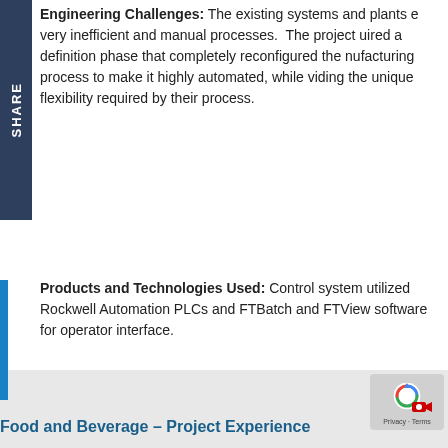Engineering Challenges: The existing systems and plants e very inefficient and manual processes. The project uired a definition phase that completely reconfigured the nufacturing process to make it highly automated, while viding the unique flexibility required by their process.
Products and Technologies Used: Control system utilized Rockwell Automation PLCs and FTBatch and FTView software for operator interface.
Project Outcome: The new plant systems greatly increased production throughput and reduced product loss from misbatching that occurred in the older manual arrangement.
Food and Beverage – Project Experience
[Figure (logo): reCAPTCHA logo with Privacy - Terms text]